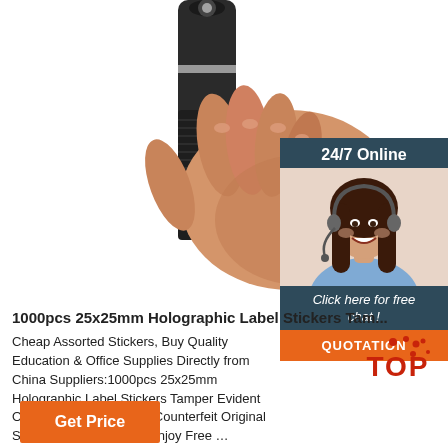[Figure (photo): Hand holding a black cylindrical flashlight/torch against white background]
[Figure (infographic): 24/7 Online customer service widget with photo of smiling woman with headset, 'Click here for free chat!' text, and orange QUOTATION button]
1000pcs 25x25mm Holographic Label Stickers Tam...
Cheap Assorted Stickers, Buy Quality Education & Office Supplies Directly from China Suppliers:1000pcs 25x25mm Holographic Label Stickers Tamper Evident Open Warranty Security Counterfeit Original Seal Tape Can Custom Enjoy Free …
[Figure (logo): TOP badge with red dots]
Get Price